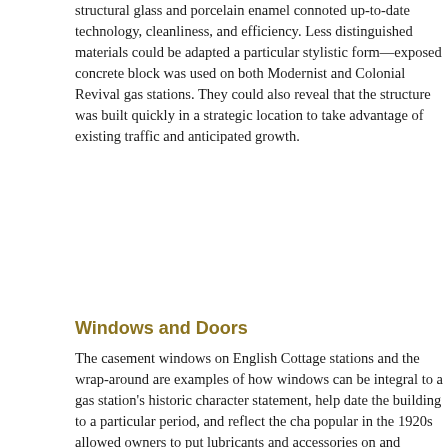structural glass and porcelain enamel connoted up-to-date technology, cleanliness, and efficiency. Less distinguished materials could be adapted a particular stylistic form—exposed concrete block was used on both Modernist and Colonial Revival gas stations. They could also reveal that the structure was built quickly in a strategic location to take advantage of existing traffic and anticipated growth.
Windows and Doors
The casement windows on English Cottage stations and the wrap-around are examples of how windows can be integral to a gas station's historic character statement, help date the building to a particular period, and reflect the character popular in the 1920s allowed owners to put lubricants and accessories on display and modern efficiency. Appearing between the World Wars, Colonial Revival reassuring sense of tradition and dignity.
Doors and entrances are likely to be significant, especially those on primary stations are the service bay doors. Surviving gas stations from the early-twentieth historic stations, however, likely feature segmental doors that were guided largely wood. Successive door models featured more numerous and larger predominated.
Interior Spaces
Whether they date from 1916 or 1965, basic gas station sheds often cont...